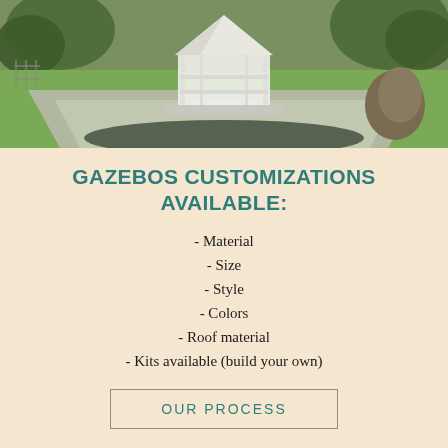[Figure (photo): Outdoor photo showing a white gazebo structure on a concrete patio surrounded by green lawn and trees]
GAZEBOS CUSTOMIZATIONS AVAILABLE:
- Material
- Size
- Style
- Colors
- Roof material
- Kits available (build your own)
OUR PROCESS